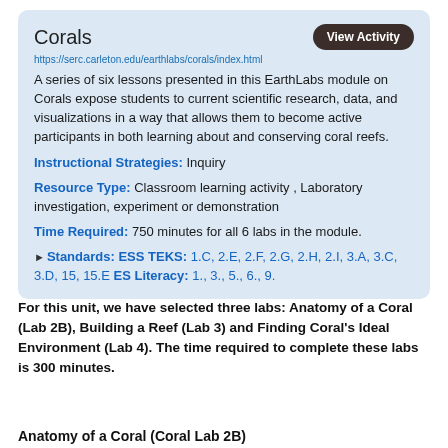Corals
https://serc.carleton.edu/earthlabs/corals/index.html
A series of six lessons presented in this EarthLabs module on Corals expose students to current scientific research, data, and visualizations in a way that allows them to become active participants in both learning about and conserving coral reefs.
Instructional Strategies: Inquiry
Resource Type: Classroom learning activity , Laboratory investigation, experiment or demonstration
Time Required: 750 minutes for all 6 labs in the module.
► Standards: ESS TEKS: 1.C, 2.E, 2.F, 2.G, 2.H, 2.I, 3.A, 3.C, 3.D, 15, 15.E ES Literacy: 1., 3., 5., 6., 9.
For this unit, we have selected three labs: Anatomy of a Coral (Lab 2B), Building a Reef (Lab 3) and Finding Coral's Ideal Environment (Lab 4). The time required to complete these labs is 300 minutes.
Anatomy of a Coral (Coral Lab 2B)